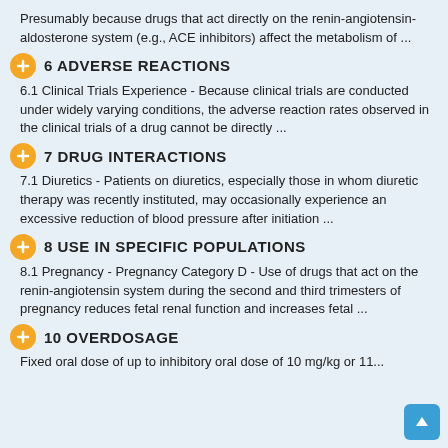Presumably because drugs that act directly on the renin-angiotensin-aldosterone system (e.g., ACE inhibitors) affect the metabolism of ...
6 ADVERSE REACTIONS
6.1 Clinical Trials Experience - Because clinical trials are conducted under widely varying conditions, the adverse reaction rates observed in the clinical trials of a drug cannot be directly ...
7 DRUG INTERACTIONS
7.1 Diuretics - Patients on diuretics, especially those in whom diuretic therapy was recently instituted, may occasionally experience an excessive reduction of blood pressure after initiation ...
8 USE IN SPECIFIC POPULATIONS
8.1 Pregnancy - Pregnancy Category D - Use of drugs that act on the renin-angiotensin system during the second and third trimesters of pregnancy reduces fetal renal function and increases fetal ...
10 OVERDOSAGE
Fixed oral dose of up to inhibitory oral dose of 10 mg/kg or 11...